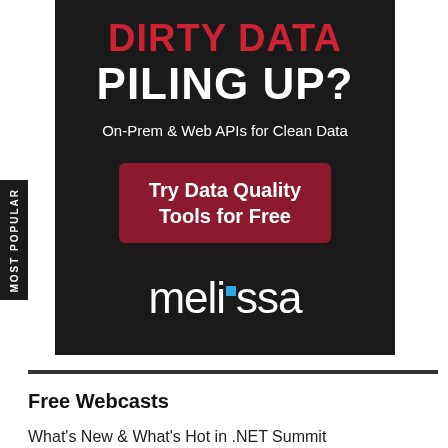[Figure (other): Advertisement banner for Melissa data quality tools on dark background. Shows 'DIRTY DATA PILING UP?' headline, 'On-Prem & Web APIs for Clean Data' subtitle, a 'Try Data Quality Tools for Free' call-to-action button, and the Melissa logo with blue dot.]
MOST POPULAR
Free Webcasts
What's New & What's Hot in .NET Summit